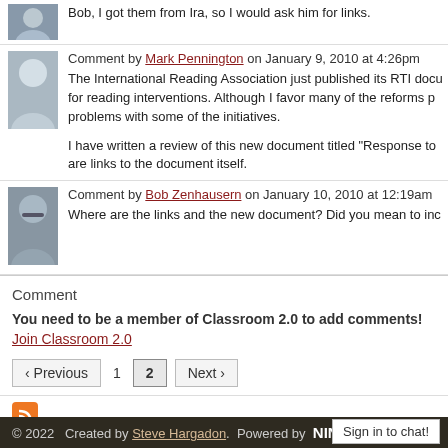Bob, I got them from Ira, so I would ask him for links.
Comment by Mark Pennington on January 9, 2010 at 4:26pm
The International Reading Association just published its RTI document for reading interventions. Although I favor many of the reforms proposed, I have problems with some of the initiatives.

I have written a review of this new document titled "Response to..." are links to the document itself.
Comment by Bob Zenhausern on January 10, 2010 at 12:19am
Where are the links and the new document? Did you mean to inc...
Comment
You need to be a member of Classroom 2.0 to add comments!
Join Classroom 2.0
‹ Previous  1  2  Next ›
© 2022   Created by Steve Hargadon.  Powered by  NING
Sign in to chat!